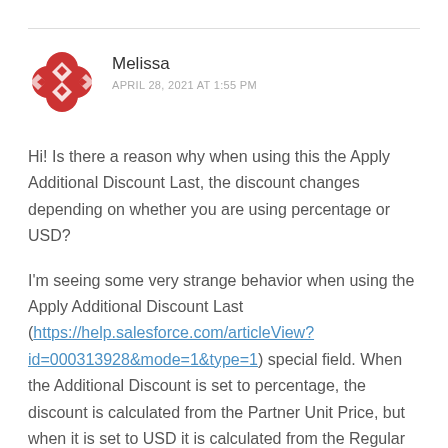Melissa
APRIL 28, 2021 AT 1:55 PM
Hi! Is there a reason why when using this the Apply Additional Discount Last, the discount changes depending on whether you are using percentage or USD?
I'm seeing some very strange behavior when using the Apply Additional Discount Last (https://help.salesforce.com/articleView?id=000313928&mode=1&type=1) special field. When the Additional Discount is set to percentage, the discount is calculated from the Partner Unit Price, but when it is set to USD it is calculated from the Regular Unit Price. I don't see any KAIs or notes that this should be the case. Any insight?